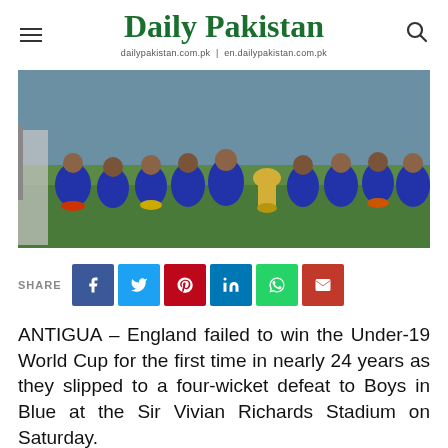Daily Pakistan | dailypakistan.com.pk | en.dailypakistan.com.pk
[Figure (photo): Indian Under-19 cricket team posing with trophy on grass field, all dressed in blue uniforms]
SHARE
ANTIGUA – England failed to win the Under-19 World Cup for the first time in nearly 24 years as they slipped to a four-wicket defeat to Boys in Blue at the Sir Vivian Richards Stadium on Saturday.
Indian team lifted their fifth ICC U19 World Cup title in the final as the English team was all out